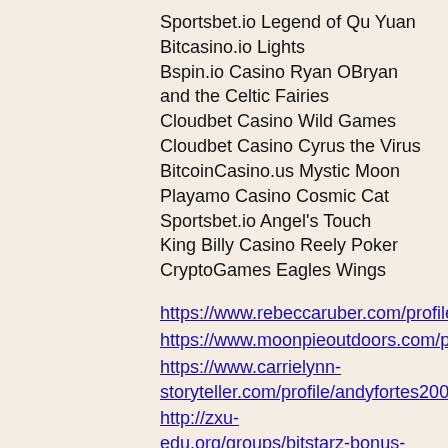Sportsbet.io Legend of Qu Yuan
Bitcasino.io Lights
Bspin.io Casino Ryan OBryan and the Celtic Fairies
Cloudbet Casino Wild Games
Cloudbet Casino Cyrus the Virus
BitcoinCasino.us Mystic Moon
Playamo Casino Cosmic Cat
Sportsbet.io Angel's Touch
King Billy Casino Reely Poker
CryptoGames Eagles Wings
https://www.rebeccaruber.com/profile/lylevespa1989/profile
https://www.moonpieoutdoors.com/profile/tamarababbit1999/profile
https://www.carrielynn-storyteller.com/profile/andyfortes2004/profile
http://zxu-edu.org/groups/bitstarz-bonus-code-no-deposit-2020-bitstarz-no-deposit-codes-2020/